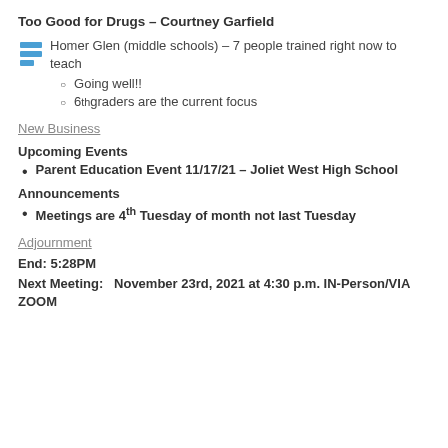Too Good for Drugs – Courtney Garfield
Homer Glen (middle schools) – 7 people trained right now to teach
Going well!!
6th graders are the current focus
New Business
Upcoming Events
Parent Education Event 11/17/21 – Joliet West High School
Announcements
Meetings are 4th Tuesday of month not last Tuesday
Adjournment
End: 5:28PM
Next Meeting:   November 23rd, 2021 at 4:30 p.m. IN-Person/VIA ZOOM